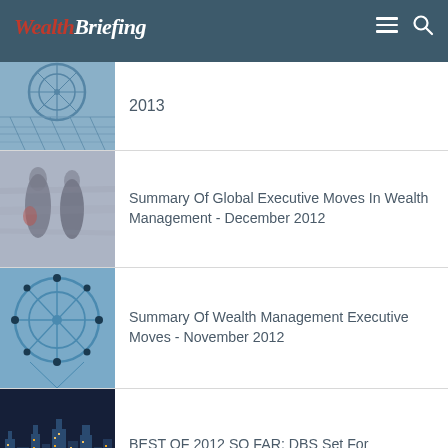WealthBriefing
2013
Summary Of Global Executive Moves In Wealth Management - December 2012
Summary Of Wealth Management Executive Moves - November 2012
BEST OF 2012 SO FAR: DBS Set For International Foray This Year, Says Wealth COO